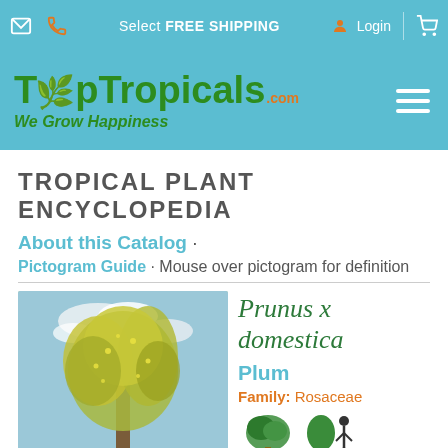Select FREE SHIPPING · Login
[Figure (logo): TopTropicals.com - We Grow Happiness logo on teal background]
TROPICAL PLANT ENCYCLOPEDIA
About this Catalog ·
Pictogram Guide · Mouse over pictogram for definition
[Figure (photo): Large tree with yellow-green foliage against blue sky]
Prunus x domestica
Plum
Family: Rosaceae
[Figure (illustration): Pictograms showing bonsai, full-grown tree, and other plant property icons]